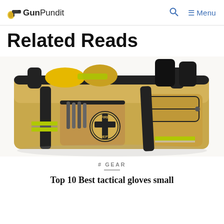GunPundit — Menu
Related Reads
[Figure (photo): A tan/khaki firefighter gear bag with black handles and trim, Fire Dept emblem patch on front pocket, filled with yellow gloves and equipment, black cylindrical objects visible at top.]
# GEAR
Top 10 Best tactical gloves small